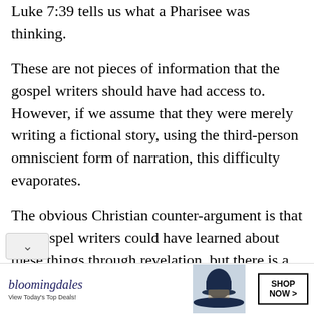Luke 7:39 tells us what a Pharisee was thinking.
These are not pieces of information that the gospel writers should have had access to. However, if we assume that they were merely writing a fictional story, using the third-person omniscient form of narration, this difficulty evaporates.
The obvious Christian counter-argument is that the gospel writers could have learned about these things through revelation, but there is a response to this.
[Figure (other): Bloomingdale's advertisement banner with logo, 'View Today's Top Deals!' tagline, woman in wide-brim hat image, and 'SHOP NOW >' button]